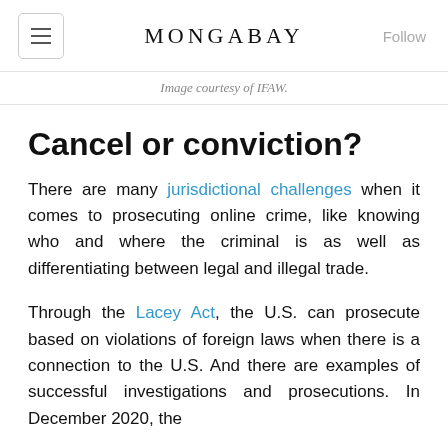MONGABAY
Image courtesy of IFAW.
Cancel or conviction?
There are many jurisdictional challenges when it comes to prosecuting online crime, like knowing who and where the criminal is as well as differentiating between legal and illegal trade.
Through the Lacey Act, the U.S. can prosecute based on violations of foreign laws when there is a connection to the U.S. And there are examples of successful investigations and prosecutions. In December 2020, the